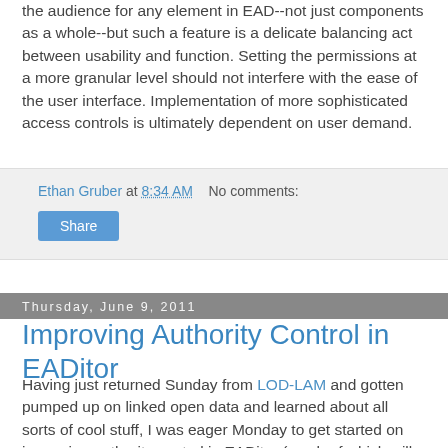the audience for any element in EAD--not just components as a whole--but such a feature is a delicate balancing act between usability and function. Setting the permissions at a more granular level should not interfere with the ease of the user interface. Implementation of more sophisticated access controls is ultimately dependent on user demand.
Ethan Gruber at 8:34 AM   No comments:
Share
Thursday, June 9, 2011
Improving Authority Control in EADitor
Having just returned Sunday from LOD-LAM and gotten pumped up on linked open data and learned about all sorts of cool stuff, I was eager Monday to get started on improving authority control in EADitor (much of which will later be applied to the Numishare general distribution). I learned of VIAF, an OCLC corporate and personal name authority service, and set off to integrate this service into EADitor's